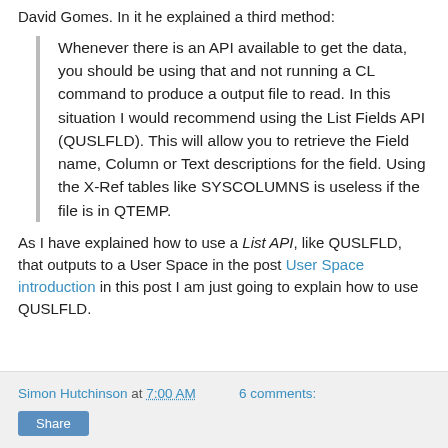David Gomes. In it he explained a third method:
Whenever there is an API available to get the data, you should be using that and not running a CL command to produce a output file to read. In this situation I would recommend using the List Fields API (QUSLFLD). This will allow you to retrieve the Field name, Column or Text descriptions for the field. Using the X-Ref tables like SYSCOLUMNS is useless if the file is in QTEMP.
As I have explained how to use a List API, like QUSLFLD, that outputs to a User Space in the post User Space introduction in this post I am just going to explain how to use QUSLFLD.
Simon Hutchinson at 7:00 AM   6 comments: